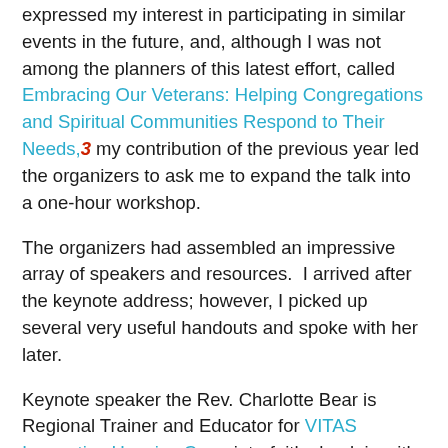expressed my interest in participating in similar events in the future, and, although I was not among the planners of this latest effort, called Embracing Our Veterans: Helping Congregations and Spiritual Communities Respond to Their Needs,3 my contribution of the previous year led the organizers to ask me to expand the talk into a one-hour workshop.
The organizers had assembled an impressive array of speakers and resources.  I arrived after the keynote address; however, I picked up several very useful handouts and spoke with her later.
Keynote speaker the Rev. Charlotte Bear is Regional Trainer and Educator for VITAS Innovative Hospice Care, interfaith chaplain with the United Methodist Church and the Universal Interreligious Order, U.S. Army veteran of the Panama-Grenada-Lebanon conflicts, and recipient of an Army Commendation Medal and a Meritorious Award for serving as the first woman TV news director in combat theaters.
Her handouts included information about: (1) ministry to specific groups, the lives of the military, assessment and...